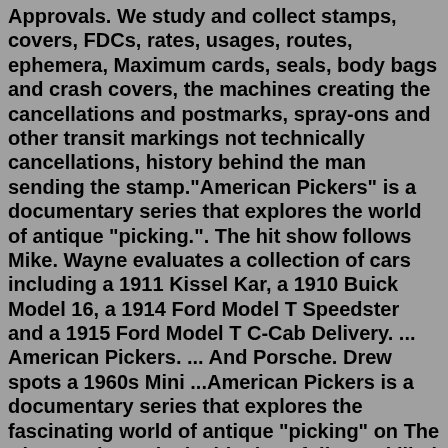Approvals. We study and collect stamps, covers, FDCs, rates, usages, routes, ephemera, Maximum cards, seals, body bags and crash covers, the machines creating the cancellations and postmarks, spray-ons and other transit markings not technically cancellations, history behind the man sending the stamp."American Pickers" is a documentary series that explores the world of antique "picking.". The hit show follows Mike. Wayne evaluates a collection of cars including a 1911 Kissel Kar, a 1910 Buick Model 16, a 1914 Ford Model T Speedster and a 1915 Ford Model T C-Cab Delivery. ... American Pickers. ... And Porsche. Drew spots a 1960s Mini ...American Pickers is a documentary series that explores the fascinating world of antique "picking" on The History Channel. The hit show follows skilled pickers in the business, as they hunt for America's most valuable antiques. ... He has toy cars from 1940-65. Tractors trailers boats and more! . Call me at 231-844-2982 fir best response ...Free Appraisals ~ Buddy L Museum world's largest buyer of antique transportation toys, cars, trucks &